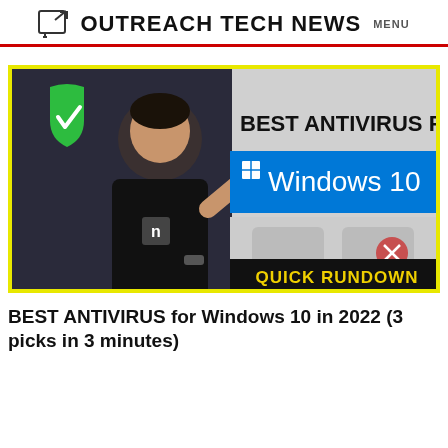OUTREACH TECH NEWS  MENU
[Figure (screenshot): Thumbnail image for a YouTube video showing a man in a black t-shirt pointing, with text 'BEST ANTIVIRUS FOR Windows 10' on a blue banner, a green shield icon, and 'QUICK RUNDOWN' label in yellow/black. Yellow border around the image.]
BEST ANTIVIRUS for Windows 10 in 2022 (3 picks in 3 minutes)